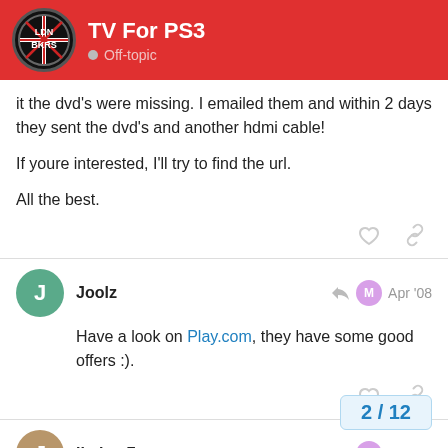TV For PS3 — Off-topic
it the dvd's were missing. I emailed them and within 2 days they sent the dvd's and another hdmi cable!
If youre interested, I'll try to find the url.
All the best.
Joolz — Apr '08
Have a look on Play.com, they have some good offers :).
jimhas7 — Apr '08
2 / 12